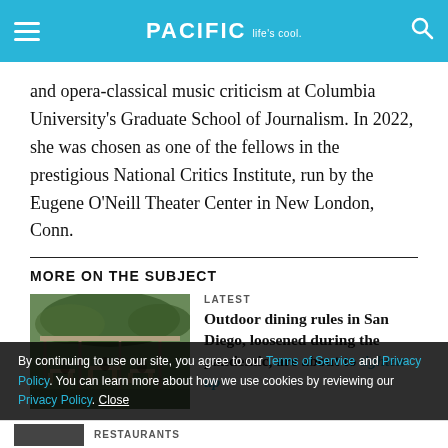PACIFIC Life's cool
and opera-classical music criticism at Columbia University's Graduate School of Journalism. In 2022, she was chosen as one of the fellows in the prestigious National Critics Institute, run by the Eugene O'Neill Theater Center in New London, Conn.
MORE ON THE SUBJECT
[Figure (photo): Outdoor dining area with tables, chairs, and trees, under a covered patio structure]
LATEST
Outdoor dining rules in San Diego, loosened during the pandemic, are about to tighten up
By continuing to use our site, you agree to our Terms of Service and Privacy Policy. You can learn more about how we use cookies by reviewing our Privacy Policy. Close
RESTAURANTS